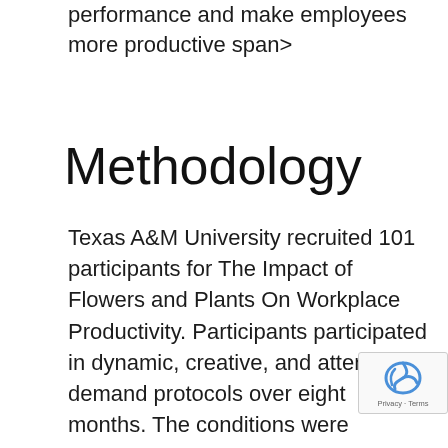performance and make employees more productive span>
Methodology
Texas A&M University recruited 101 participants for The Impact of Flowers and Plants On Workplace Productivity. Participants participated in dynamic, creative, and attentional demand protocols over eight months. The conditions were controlled but were very similar to workplaces. The subjects were required to complete a series of tasks under three conditions: without embellishments, with fresh flowers or plants, with abstract sculpture, or with no embellishments. Each